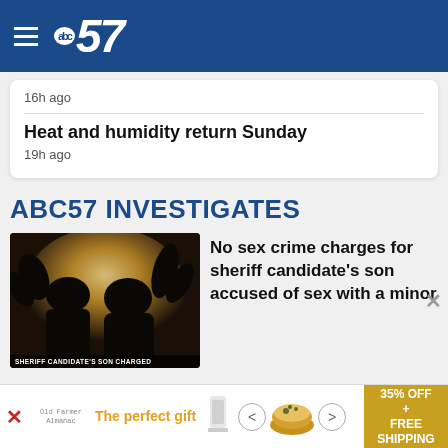abc57
16h ago
Heat and humidity return Sunday
19h ago
ABC57 INVESTIGATES
[Figure (photo): Silhouette of two people against a bright background, with TV chyron reading 'SHERIFF CANDIDATE'S SON CHARGED']
No sex crime charges for sheriff candidate's son accused of sex with a minor
[Figure (other): Advertisement banner: The perfect gift, 35% OFF + FREE SHIPPING]